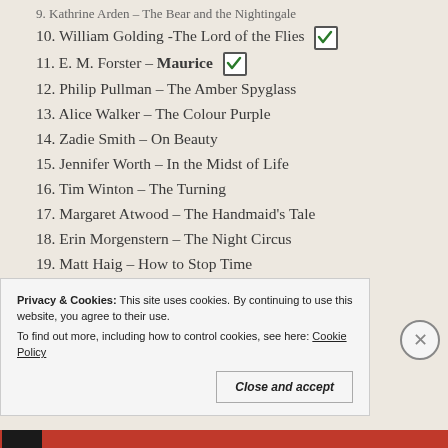9. Kathrine Arden – The Bear and the Nightingale
10. William Golding -The Lord of the Flies [checked]
11. E. M. Forster – Maurice [checked]
12. Philip Pullman – The Amber Spyglass
13. Alice Walker – The Colour Purple
14. Zadie Smith – On Beauty
15. Jennifer Worth – In the Midst of Life
16. Tim Winton – The Turning
17. Margaret Atwood – The Handmaid's Tale
18. Erin Morgenstern – The Night Circus
19. Matt Haig – How to Stop Time
20. Brandon Sanderson – Skyward
Fo ll ... So ci al M e di ...
Privacy & Cookies: This site uses cookies. By continuing to use this website, you agree to their use. To find out more, including how to control cookies, see here: Cookie Policy
Close and accept